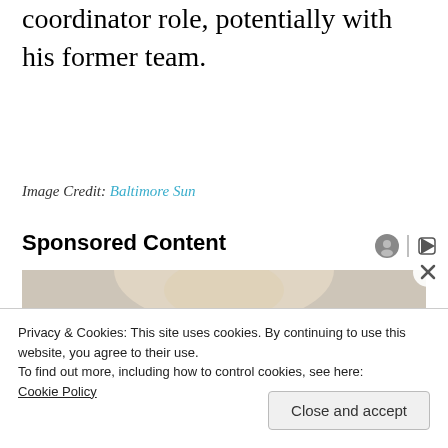coordinator role, potentially with his former team.
Image Credit: Baltimore Sun
Sponsored Content
[Figure (photo): Partial view of a person with blonde hair, cropped, used as sponsored content thumbnail.]
Privacy & Cookies: This site uses cookies. By continuing to use this website, you agree to their use.
To find out more, including how to control cookies, see here: Cookie Policy
Close and accept